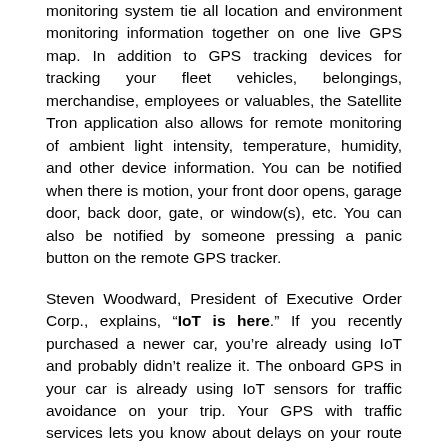monitoring system tie all location and environment monitoring information together on one live GPS map. In addition to GPS tracking devices for tracking your fleet vehicles, belongings, merchandise, employees or valuables, the Satellite Tron application also allows for remote monitoring of ambient light intensity, temperature, humidity, and other device information. You can be notified when there is motion, your front door opens, garage door, back door, gate, or window(s), etc. You can also be notified by someone pressing a panic button on the remote GPS tracker.
Steven Woodward, President of Executive Order Corp., explains, "IoT is here." If you recently purchased a newer car, you're already using IoT and probably didn't realize it. The onboard GPS in your car is already using IoT sensors for traffic avoidance on your trip. Your GPS with traffic services lets you know about delays on your route and suggests or automatically takes alternate routes to guide you around the trouble spots. Your GPS is receiving information from traffic sensors via the internet (IoT). This IoT data comes from cellular phone owners, electronic incident reports, radio feeds of live information, and fixed traffic